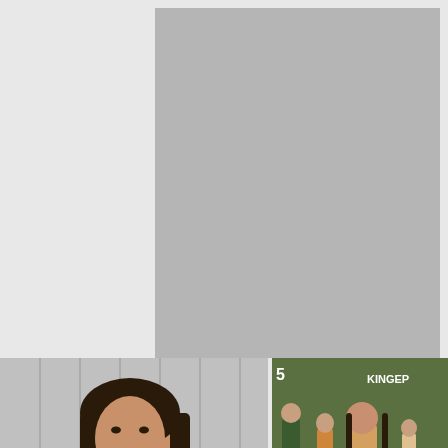[Figure (screenshot): Gray placeholder rectangle representing a blurred/loading video thumbnail at the top of the page]
[Figure (photo): Video thumbnail showing a young Asian woman with long dark hair in front of curtains]
[Figure (photo): Video thumbnail showing people walking outdoors, with KINGEP watermark visible]
11275 VIEWS, 9:00 DUR, 2020-
11789 VIEWS, 10:00 DUR, 2020-
QUIET LOV
[Figure (infographic): VPN popup notification with shield logo reading 'System May Be At Risk — Please Download The VPN App To Continue']
[Figure (infographic): Second VPN popup notification with shield logo reading 'System May Be At Risk — Please Download The VPN App To Continue']
[Figure (photo): Partial video thumbnail at bottom left showing a person]
[Figure (photo): Partial video thumbnail at bottom right]